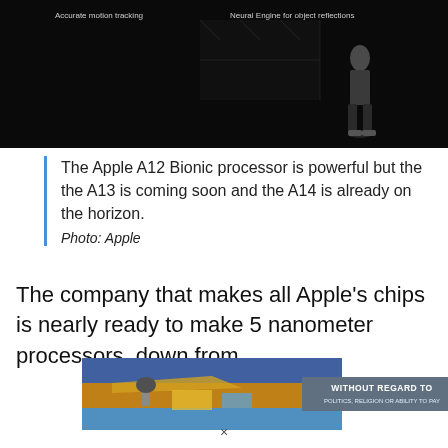[Figure (screenshot): Screenshot of Apple presentation on dark stage. Labels visible: 'Accurate motion tracking' (top left), 'Neural Engine for object reflections' (top right). A presenter figure stands on stage.]
The Apple A12 Bionic processor is powerful but the the A13 is coming soon and the A14 is already on the horizon.
Photo: Apple
The company that makes all Apple's chips is nearly ready to make 5 nanometer processors, down from
[Figure (photo): Advertisement image showing airplane on tarmac with cargo, overlaid with text 'WITHOUT REGARD TO POLITICS, RELIGION OR ABILITY TO PAY']